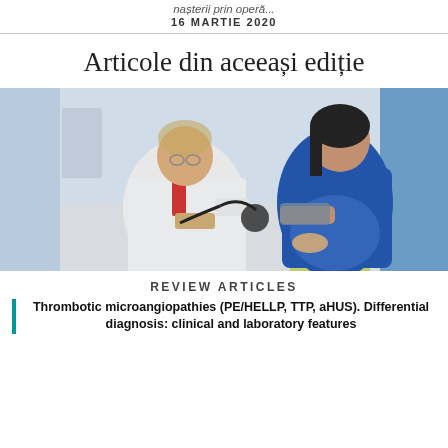nașterii prin operă...
16 MARTIE 2020
Articole din aceeași ediție
[Figure (photo): Doctor in white coat using stethoscope to measure blood pressure of a pregnant woman in a blue sweater holding her belly]
REVIEW ARTICLES
Thrombotic microangiopathies (PE/HELLP, TTP, aHUS). Differential diagnosis: clinical and laboratory features